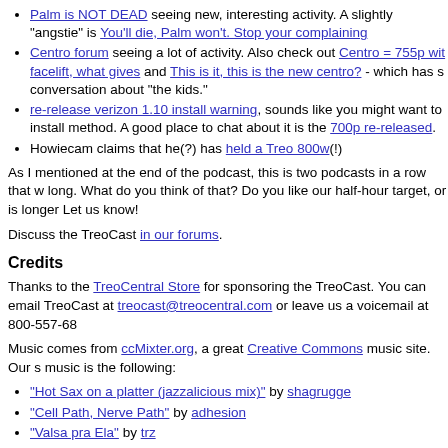Palm is NOT DEAD seeing new, interesting activity. A slightly "angsties" is You'll die, Palm won't. Stop your complaining
Centro forum seeing a lot of activity. Also check out Centro = 755p with facelift, what gives and This is it, this is the new centro? - which has s conversation about "the kids."
re-release verizon 1.10 install warning, sounds like you might want to install method. A good place to chat about it is the 700p re-released.
Howiecam claims that he(?) has held a Treo 800w(!)
As I mentioned at the end of the podcast, this is two podcasts in a row that w long. What do you think of that? Do you like our half-hour target, or is longer Let us know!
Discuss the TreoCast in our forums.
Credits
Thanks to the TreoCentral Store for sponsoring the TreoCast. You can email TreoCast at treocast@treocentral.com or leave us a voicemail at 800-557-68
Music comes from ccMixter.org, a great Creative Commons music site. Our s music is the following:
"Hot Sax on a platter (jazzalicious mix)" by shagrugge
"Cell Path, Nerve Path" by adhesion
"Valsa pra Ela" by trz
"strings (Flak Beat pt. 2)" by B_Trasht
"Independence Day" by MC Jack in the Box